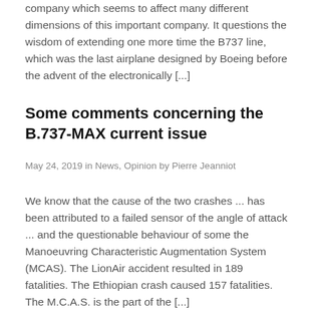company which seems to affect many different dimensions of this important company. It questions the wisdom of extending one more time the B737 line, which was the last airplane designed by Boeing before the advent of the electronically [...]
Some comments concerning the B.737-MAX current issue
May 24, 2019 in News, Opinion by Pierre Jeanniot
We know that the cause of the two crashes ... has been attributed to a failed sensor of the angle of attack ... and the questionable behaviour of some the Manoeuvring Characteristic Augmentation System (MCAS). The LionAir accident resulted in 189 fatalities. The Ethiopian crash caused 157 fatalities. The M.C.A.S. is the part of the [...]